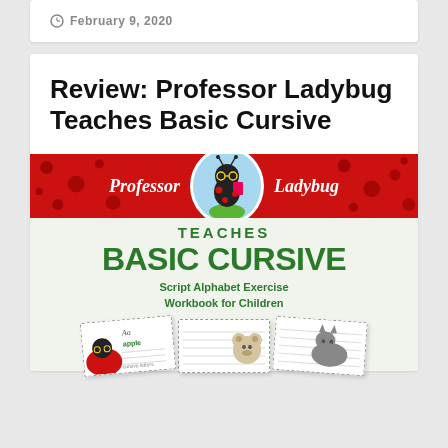February 9, 2020
Review: Professor Ladybug Teaches Basic Cursive
[Figure (illustration): Book cover for 'Professor Ladybug Teaches Basic Cursive: Script Alphabet Exercise Workbook for Children'. Features a red polka-dot banner with 'Professor' and 'Ladybug' text flanking an oval with a cartoon ladybug mascot holding a book. Below: 'TEACHES BASIC CURSIVE' in large green bold text, subtitle 'Script Alphabet Exercise Workbook for Children', and sample workbook pages at the bottom.]